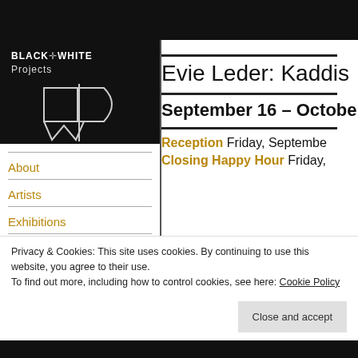[Figure (logo): Black and White Projects logo — text 'BLACK & WHITE Projects' above a geometric BW monogram on black background]
About
Artists
Exhibitions
Evie Leder: Kaddis
September 16 – October
Reception Friday, September
Closing Happy Hour Friday,
Privacy & Cookies: This site uses cookies. By continuing to use this website, you agree to their use.
To find out more, including how to control cookies, see here: Cookie Policy
Close and accept